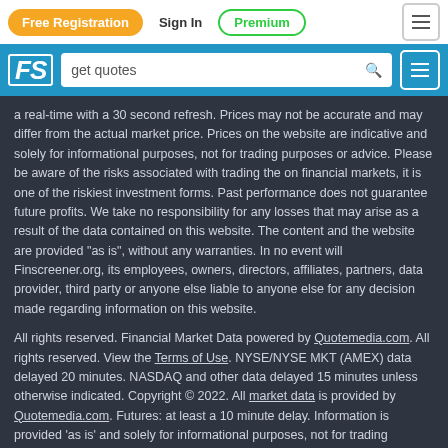Free Registration | Sign In | Premium | [menu]
FS [logo] | get quotes [search] | [menu]
a real-time with a 30 second refresh. Prices may not be accurate and may differ from the actual market price. Prices on the website are indicative and solely for informational purposes, not for trading purposes or advice. Please be aware of the risks associated with trading the on financial markets, it is one of the riskiest investment forms. Past performance does not guarantee future profits. We take no responsibility for any losses that may arise as a result of the data contained on this website. The content and the website are provided "as is", without any warranties. In no event will Finscreener.org, its employees, owners, directors, affiliates, partners, data provider, third party or anyone else liable to anyone else for any decision made regarding information on this website.
All rights reserved. Financial Market Data powered by Quotemedia.com. All rights reserved. View the Terms of Use. NYSE/NYSE MKT (AMEX) data delayed 20 minutes. NASDAQ and other data delayed 15 minutes unless otherwise indicated. Copyright © 2022. All market data is provided by Quotemedia.com. Futures: at least a 10 minute delay. Information is provided 'as is' and solely for informational purposes, not for trading purposes or advice. To see all exchange delays and terms of use, please see disclaimer. The Cryptocurrency Market real-time data provided by Cryptocompare.com.